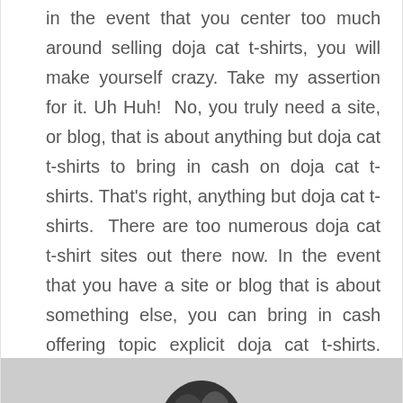in the event that you center too much around selling doja cat t-shirts, you will make yourself crazy. Take my assertion for it. Uh Huh!  No, you truly need a site, or blog, that is about anything but doja cat t-shirts to bring in cash on doja cat t-shirts. That's right, anything but doja cat t-shirts.  There are too numerous doja cat t-shirt sites out there now. In the event that you have a site or blog that is about something else, you can bring in cash offering topic explicit doja cat t-shirts. That's the ticket.
[Figure (photo): Bottom portion of a person's head/hair visible at the bottom of the page]